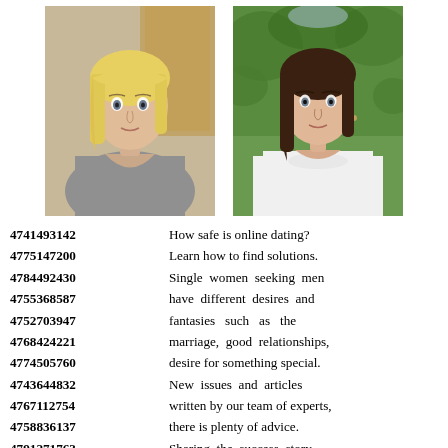[Figure (photo): Two portrait photos side by side: left photo shows a young blonde woman in a grey top; right photo shows a brunette woman in a white top outdoors.]
4741493142  How safe is online dating?
4775147200  Learn how to find solutions.
4784492430  Single women seeking men
4755368587  have different desires and
4752703947  fantasies such as the
4768424221  marriage, good relationships,
4774505760  desire for something special.
4743644832  New issues and articles
4767112754  written by our team of experts,
4758836137  there is plenty of advice.
4791271763  Sharing the success story,
4712421531  we are here to support you
4793340366  in your search for love.
4773101232  Chat online with strangers
4757471274  in your local area using the
4766837307  search function as an example!